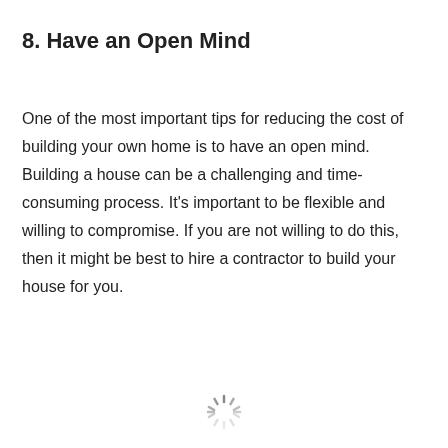8. Have an Open Mind
One of the most important tips for reducing the cost of building your own home is to have an open mind. Building a house can be a challenging and time-consuming process. It's important to be flexible and willing to compromise. If you are not willing to do this, then it might be best to hire a contractor to build your house for you.
[Figure (other): Loading spinner icon at bottom center of page]